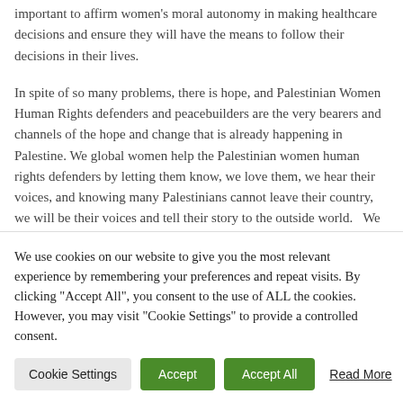important to affirm women's moral autonomy in making healthcare decisions and ensure they will have the means to follow their decisions in their lives.
In spite of so many problems, there is hope, and Palestinian Women Human Rights defenders and peacebuilders are the very bearers and channels of the hope and change that is already happening in Palestine. We global women help the Palestinian women human rights defenders by letting them know, we love them, we hear their voices, and knowing many Palestinians cannot leave their country, we will be their voices and tell their story to the outside world.   We know their suffering and we take inspiration from their courageous
We use cookies on our website to give you the most relevant experience by remembering your preferences and repeat visits. By clicking "Accept All", you consent to the use of ALL the cookies. However, you may visit "Cookie Settings" to provide a controlled consent.